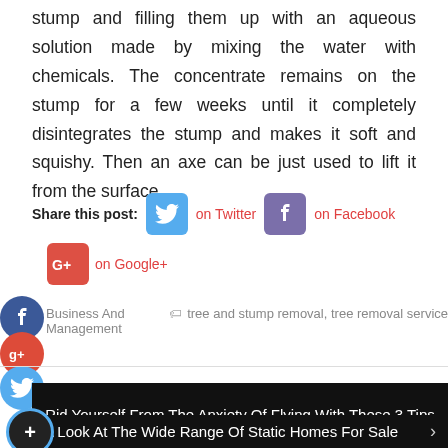stump and filling them up with an aqueous solution made by mixing the water with chemicals. The concentrate remains on the stump for a few weeks until it completely disintegrates the stump and makes it soft and squishy. Then an axe can be just used to lift it from the surface.
Share this post: on Twitter on Facebook on Google+
Business And Management  tree and stump removal, tree removal service
Rid Yourself From The Anxiety Of Flying With These 3 Tips
A Look At The Wide Range Of Static Homes For Sale